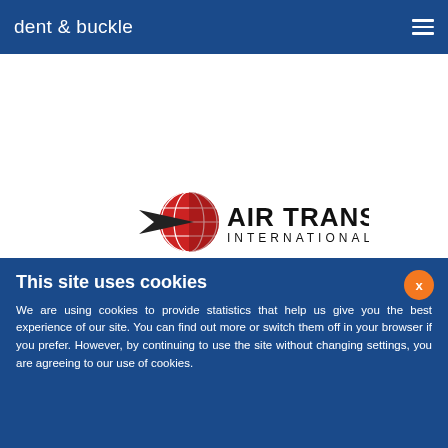dent & buckle
[Figure (logo): Air Transport International logo with globe and wing graphic, red and dark red colors, with bold black text reading AIR TRANSPORT INTERNATIONAL]
This site uses cookies
We are using cookies to provide statistics that help us give you the best experience of our site. You can find out more or switch them off in your browser if you prefer. However, by continuing to use the site without changing settings, you are agreeing to our use of cookies.